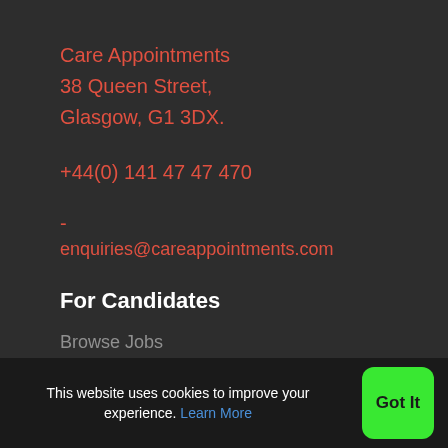Care Appointments
38 Queen Street,
Glasgow, G1 3DX.
+44(0) 141 47 47 470
-
enquiries@careappointments.com
For Candidates
Browse Jobs
Submit CV
Candidate Dashboard
This website uses cookies to improve your experience. Learn More
Got It